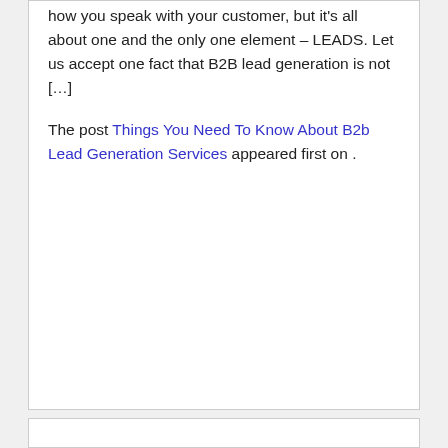how you speak with your customer, but it's all about one and the only one element – LEADS. Let us accept one fact that B2B lead generation is not […]
The post Things You Need To Know About B2b Lead Generation Services appeared first on .